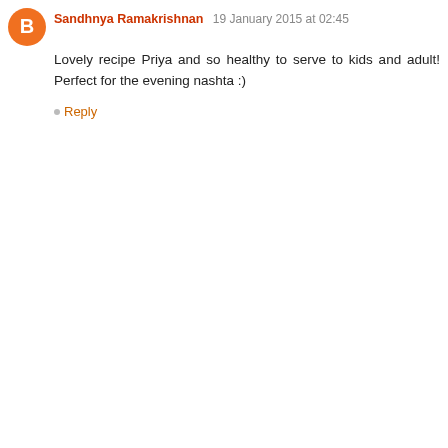Sandhnya Ramakrishnan 19 January 2015 at 02:45
Lovely recipe Priya and so healthy to serve to kids and adult! Perfect for the evening nashta :)
Reply